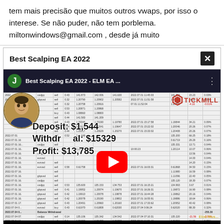tem mais precisão que muitos outros vwaps, por isso o interese. Se não puder, não tem porblema. miltonwindows@gmail.com , desde já muito
Best Scalping EA 2022
[Figure (screenshot): YouTube video thumbnail showing 'Best Scalping EA 2022 - ELM EA ...' with trading data table in background, Tickmill logo, profile photo, overlay text showing Deposit: $1,544 / Withdrawal: $15329 / Profit: $13,785, and YouTube play button]